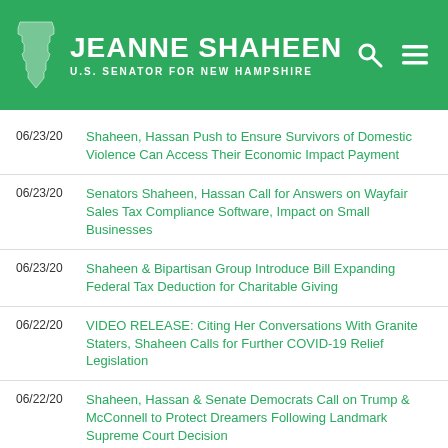[Figure (logo): Jeanne Shaheen U.S. Senator for New Hampshire official website header with green background, NH state silhouette logo, name in white bold text, and navigation icons]
06/23/20 Shaheen, Hassan Push to Ensure Survivors of Domestic Violence Can Access Their Economic Impact Payment
06/23/20 Senators Shaheen, Hassan Call for Answers on Wayfair Sales Tax Compliance Software, Impact on Small Businesses
06/23/20 Shaheen & Bipartisan Group Introduce Bill Expanding Federal Tax Deduction for Charitable Giving
06/22/20 VIDEO RELEASE: Citing Her Conversations With Granite Staters, Shaheen Calls for Further COVID-19 Relief Legislation
06/22/20 Shaheen, Hassan & Senate Democrats Call on Trump & McConnell to Protect Dreamers Following Landmark Supreme Court Decision
06/22/20 Senators Shaheen, Hassan Call for Additional School Funding as Teachers, Students, and Families Prepare for the Fall...